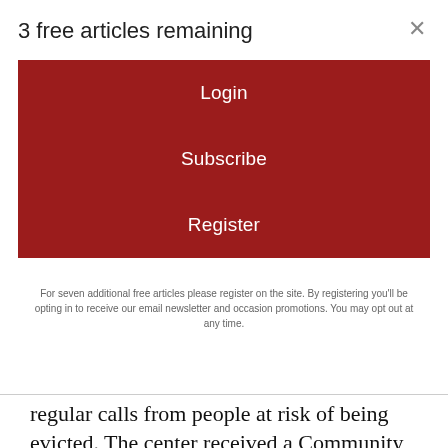3 free articles remaining
Login
Subscribe
Register
For seven additional free articles please register on the site. By registering you'll be opting in to receive our email newsletter and occasion promotions. You may opt out at any time.
regular calls from people at risk of being evicted. The center received a Community Development Block Grant from the city of Holyoke to support city residents with